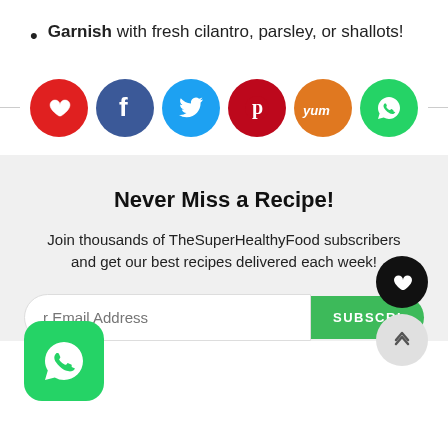Garnish with fresh cilantro, parsley, or shallots!
[Figure (infographic): Row of 6 circular social share buttons: heart (red), Facebook (dark blue), Twitter (light blue), Pinterest (dark red), Yummly (orange), WhatsApp (green), with horizontal divider lines on each side]
Never Miss a Recipe!
Join thousands of TheSuperHealthyFood subscribers and get our best recipes delivered each week!
[Figure (infographic): Email subscription input field with placeholder 'r Email Address' and a green SUBSCRIBE button, plus overlaid heart FAB and scroll-up FAB buttons, and a WhatsApp floating button]